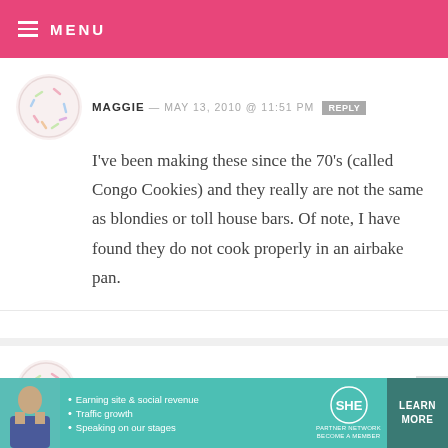MENU
MAGGIE — MAY 13, 2010 @ 11:51 PM REPLY
I've been making these since the 70's (called Congo Cookies) and they really are not the same as blondies or toll house bars. Of note, I have found they do not cook properly in an airbake pan.
MONIE — MAY 13, 2010 @ 10:16 PM REPLY
We call them Tannies... :)
[Figure (infographic): SHE Partner Network advertisement banner with person photo, bullet points about earning site & social revenue, traffic growth, speaking on our stages, SHE logo, and LEARN MORE button]